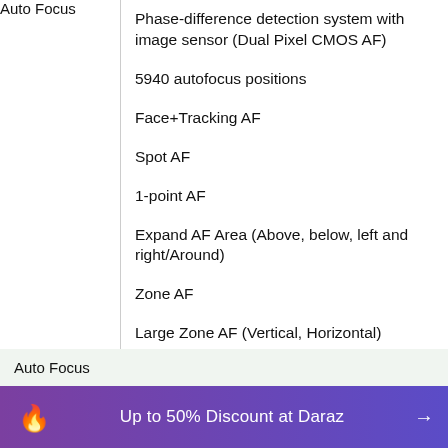| Feature | Detail |
| --- | --- |
| Auto Focus | Phase-difference detection system with image sensor (Dual Pixel CMOS AF) |
|  | 5940 autofocus positions |
|  | Face+Tracking AF |
|  | Spot AF |
|  | 1-point AF |
|  | Expand AF Area (Above, below, left and right/Around) |
|  | Zone AF |
|  | Large Zone AF (Vertical, Horizontal) |
Auto Focus
[Figure (infographic): Daraz promotional banner: orange flame logo, purple gradient background, text 'Up to 50% Discount at Daraz' with arrow]